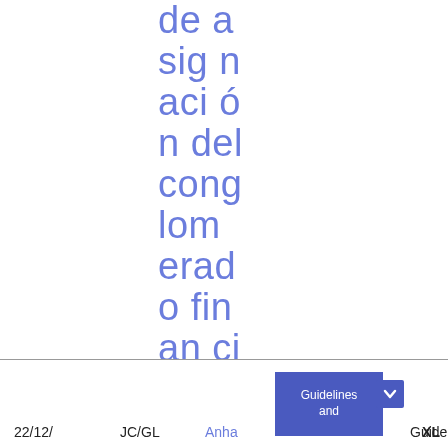de asignación del conglomerado financiero (Anexo 2014070 del Comité Mixto)
22/12/ JC/GL Anha Guidelines and Guide XL